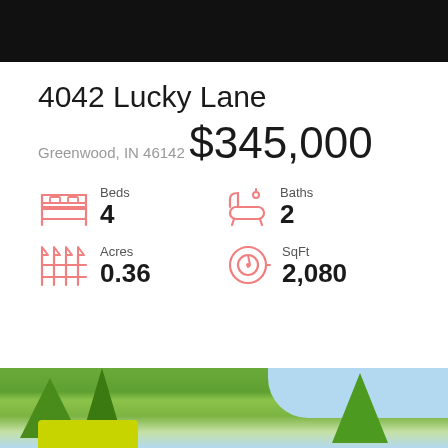4042 Lucky Lane
Greenwood, IN 46142
$345,000
Beds 4
Baths 2
Acres 0.36
SqFt 2,080
[Figure (photo): Outdoor photo showing green trees and blue sky with a yellow sold button overlay at bottom left]